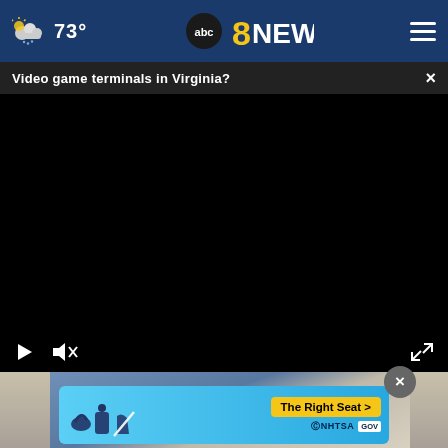abc8NEWS — 73°
Video game terminals in Virginia?
[Figure (screenshot): Black video player area with play button, mute button, and fullscreen controls at the bottom]
[Figure (photo): Partial photo showing a person's torso/hands wearing a denim jacket]
[Figure (infographic): NHTSA car seat advertisement — 'The Right Seat >' with car seat icons on a blue background]